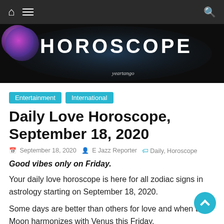Navigation bar with home, menu, and search icons
[Figure (illustration): Horoscope banner image with dark starry background, purple moon circle on left, large white HOROSCOPE text, and yeartango logo watermark]
Entertainment  International
Daily Love Horoscope, September 18, 2020
September 18, 2020  E Jazz Reporter  Daily, Horoscope
Good vibes only on Friday.
Your daily love horoscope is here for all zodiac signs in astrology starting on September 18, 2020.
Some days are better than others for love and when the Moon harmonizes with Venus this Friday,